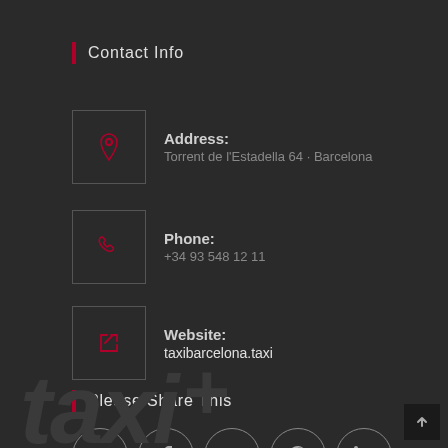Contact Info
Address: Torrent de l'Estadella 64 · Barcelona
Phone: +34 93 548 12 11
Website: taxibarcelona.taxi
Please Share This
[Figure (infographic): Five social media icon buttons in circles: Twitter, Facebook, Google+, Pinterest, LinkedIn]
[Figure (illustration): Watermark text 'taxi+' in large dark grey letters at the bottom of the page]